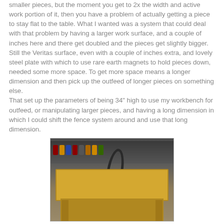smaller pieces, but the moment you get to 2x the width and active work portion of it, then you have a problem of actually getting a piece to stay flat to the table. What I wanted was a system that could deal with that problem by having a larger work surface, and a couple of inches here and there get doubled and the pieces get slightly bigger. Still the Veritas surface, even with a couple of inches extra, and lovely steel plate with which to use rare earth magnets to hold pieces down, needed some more space. To get more space means a longer dimension and then pick up the outfeed of longer pieces on something else.
That set up the parameters of being 34" high to use my workbench for outfeed, or manipulating larger pieces, and having a long dimension in which I could shift the fence system around and use that long dimension.
[Figure (photo): A workshop router table or similar woodworking station with a golden/yellow wooden top surface, black dust collection hose, mounted on a frame with legs, surrounded by workshop shelving and supplies in the background.]